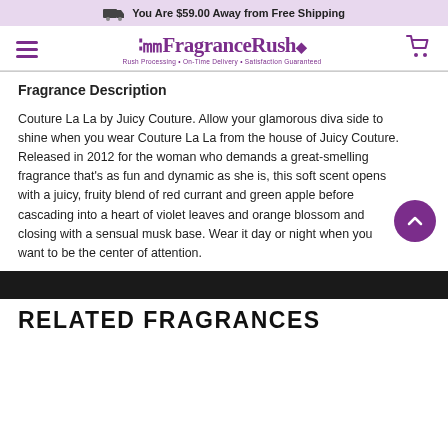You Are $59.00 Away from Free Shipping
[Figure (logo): FragranceRush logo with tagline: Rush Processing, On-Time Delivery, Satisfaction Guaranteed]
Fragrance Description
Couture La La by Juicy Couture. Allow your glamorous diva side to shine when you wear Couture La La from the house of Juicy Couture. Released in 2012 for the woman who demands a great-smelling fragrance that's as fun and dynamic as she is, this soft scent opens with a juicy, fruity blend of red currant and green apple before cascading into a heart of violet leaves and orange blossom and closing with a sensual musk base. Wear it day or night when you want to be the center of attention.
RELATED FRAGRANCES